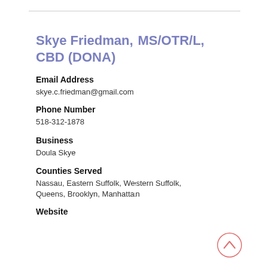Skye Friedman, MS/OTR/L, CBD (DONA)
Email Address
skye.c.friedman@gmail.com
Phone Number
518-312-1878
Business
Doula Skye
Counties Served
Nassau, Eastern Suffolk, Western Suffolk, Queens, Brooklyn, Manhattan
Website